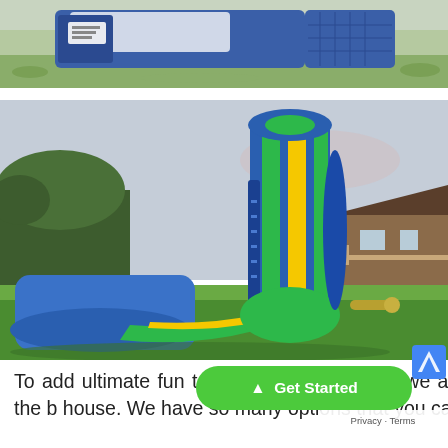[Figure (photo): Blue inflatable bounce house/tent on grass, partially visible at top of page]
[Figure (photo): Large inflatable water slide in blue, green, and yellow colors set up on a lawn with trees and a house in the background]
To add ultimate fun to your p combo where we add water slides to the bounce house. We have so many options that you can
[Figure (other): Green 'Get Started' call-to-action button with upward arrow]
Privacy · Terms